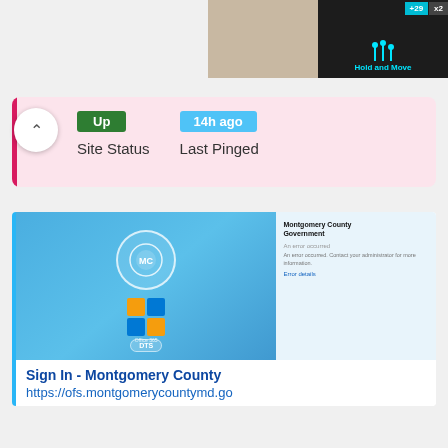[Figure (screenshot): Dark top bar with 'Hold and Move' label in cyan and counter badges showing +29 and x2]
[Figure (screenshot): Status card showing site is Up, last pinged 14h ago, with left pink bar]
[Figure (screenshot): Montgomery County Government Sign In page preview showing logo, DTS badge, and error message]
Sign In - Montgomery County
https://ofs.montgomerycountymd.go